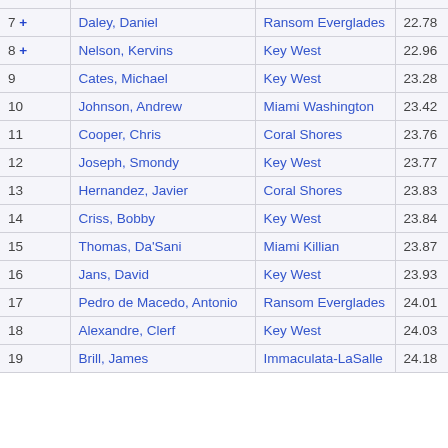| Rank | Name | School | Time |
| --- | --- | --- | --- |
| 7 + | Daley, Daniel | Ransom Everglades | 22.78 |
| 8 + | Nelson, Kervins | Key West | 22.96 |
| 9 | Cates, Michael | Key West | 23.28 |
| 10 | Johnson, Andrew | Miami Washington | 23.42 |
| 11 | Cooper, Chris | Coral Shores | 23.76 |
| 12 | Joseph, Smondy | Key West | 23.77 |
| 13 | Hernandez, Javier | Coral Shores | 23.83 |
| 14 | Criss, Bobby | Key West | 23.84 |
| 15 | Thomas, Da'Sani | Miami Killian | 23.87 |
| 16 | Jans, David | Key West | 23.93 |
| 17 | Pedro de Macedo, Antonio | Ransom Everglades | 24.01 |
| 18 | Alexandre, Clerf | Key West | 24.03 |
| 19 | Brill, James | Immaculata-LaSalle | 24.18 |